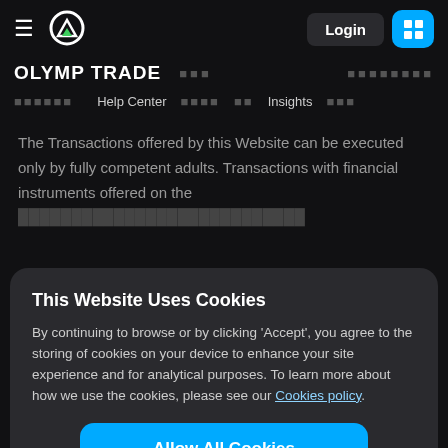≡  [logo]  Login  [button]
OLYMP TRADE  [nav items]
[nav items]  Help Center  [nav items]  Insights  [nav items]
The Transactions offered by this Website can be executed only by fully competent adults. Transactions with financial instruments offered on the Website involve a certain level of risk and if...
This Website Uses Cookies
By continuing to browse or by clicking 'Accept', you agree to the storing of cookies on your device to enhance your site experience and for analytical purposes. To learn more about how we use the cookies, please see our Cookies policy.
Allow All Cookies
Vincent & the Grenadines. The agents are VISEPOINT LIMITED; registration